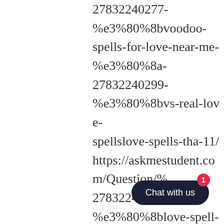27832240277-%e3%80%8bvoodoo-spells-for-love-near-me-%e3%80%8a-27832240299-%e3%80%8bvs-real-love-spellslove-spells-tha-11/ https://askmestudent.com/Question/%27832240299-%e3%80%8blove-spell-casters-casting-love-spells%e3%80%8a-27832240299-%e3%80%8bvoodoo-spells-for-love-near-me-%e3%80%8a-27832240299-%e3%80%8bvs-real-love-
[Figure (other): Chat with us button (dark navy rounded pill shape) with red notification badge showing number 1]